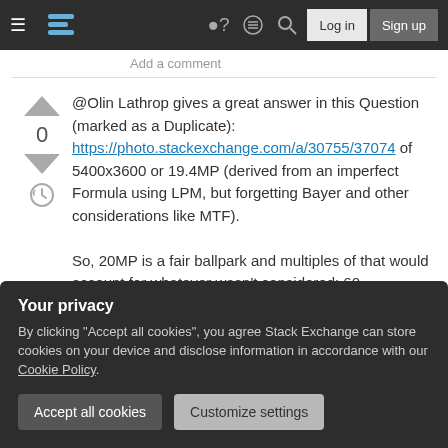Stack Exchange navigation bar with hamburger menu, logo, help, chat, search icons, Log in and Sign up buttons
Add a comment
@Olin Lathrop gives a great answer in this Question (marked as a Duplicate): https://photo.stackexchange.com/a/30755/37074 of 5400x3600 or 19.4MP (derived from an imperfect Formula using LPM, but forgetting Bayer and other considerations like MTF).

So, 20MP is a fair ballpark and multiples of that would account for whatever wasn't considered; 60
Add a comment
Your privacy
By clicking "Accept all cookies", you agree Stack Exchange can store cookies on your device and disclose information in accordance with our Cookie Policy.
Accept all cookies
Customize settings